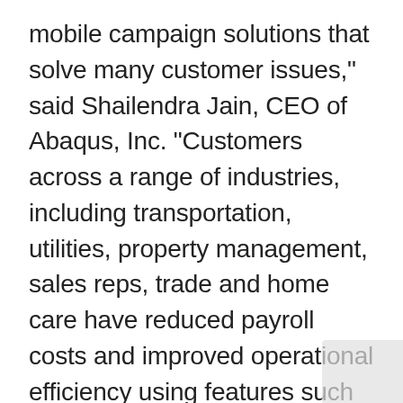mobile campaign solutions that solve many customer issues," said Shailendra Jain, CEO of Abaqus, Inc. "Customers across a range of industries, including transportation, utilities, property management, sales reps, trade and home care have reduced payroll costs and improved operational efficiency using features such as fine-grained privacy controls, geo-tagged SMS, job scheduling & tracking, job site geofencing, rules-based alerts and automated reports. With LocationSmart's hybrid location services, we have also enhanced the myGeoTracking